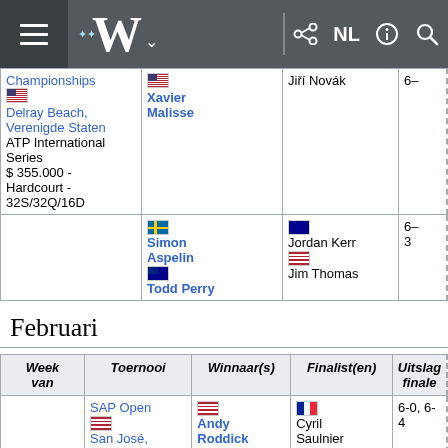Wikipedia NL navigation bar
| Week van | Toernooi | Winnaar(s) | Finalist(en) | Uitslag finale |
| --- | --- | --- | --- | --- |
|  | Championships [USA] Delray Beach, Verenigde Staten ATP International Series $ 355.000 - Hardcourt - 32S/32Q/16D | [BEL] Xavier Malisse / [SWE] Simon Aspelin [AUS] Todd Perry | Jiří Novák / [AUS] Jordan Kerr [USA] Jim Thomas | 6- / 6-3 |
Februari
| Week van | Toernooi | Winnaar(s) | Finalist(en) | Uitslag finale |
| --- | --- | --- | --- | --- |
|  | SAP Open [USA] San José, Verenigde Staten ATP International Series | [USA] Andy Roddick / [AUS] Wayne | [FRA] Cyril Saulnier / [CHE] Yves | 6-0, 6-4 |